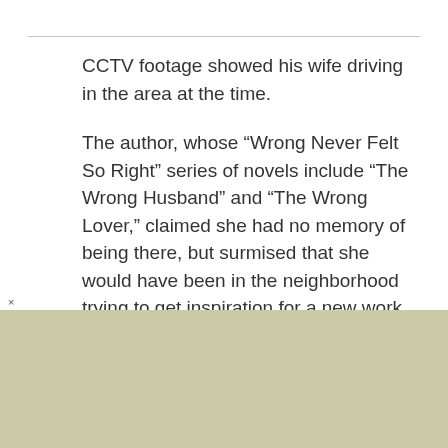CCTV footage showed his wife driving in the area at the time.
The author, whose “Wrong Never Felt So Right” series of novels include “The Wrong Husband” and “The Wrong Lover,” claimed she had no memory of being there, but surmised that she would have been in the neighborhood trying to get inspiration for a new work of fiction.